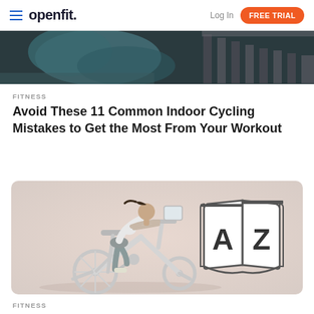openfit. | Log In | FREE TRIAL
[Figure (photo): Partial image showing gym equipment, dark blurred background with teal/grey tones]
FITNESS
Avoid These 11 Common Indoor Cycling Mistakes to Get the Most From Your Workout
[Figure (photo): Woman riding a white stationary exercise bike, grey athletic wear, ponytail. Next to her is an open book icon with A and Z on the pages. Light pinkish-grey gradient background.]
FITNESS